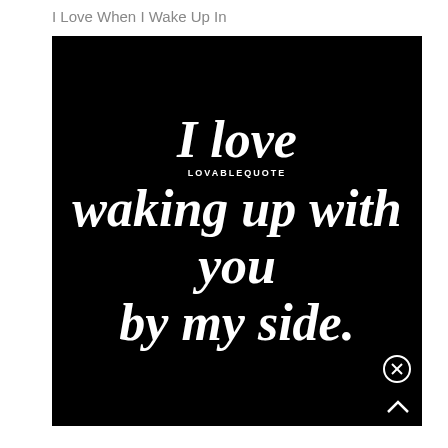I Love When I Wake Up In
[Figure (illustration): Black background image with white bold italic text reading 'I love waking up with you by my side.' with watermark 'LOVABLEQUOTE' in the center. A close button (x) and an up arrow are in the bottom right corner.]